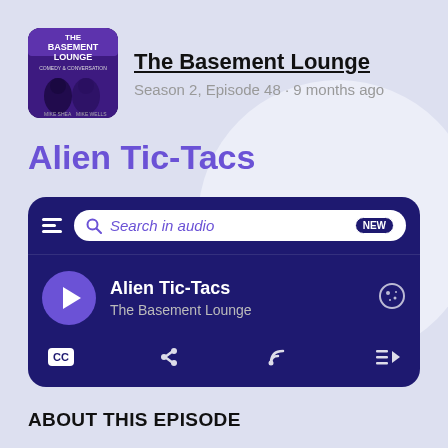[Figure (screenshot): Podcast app screenshot showing The Basement Lounge podcast episode 'Alien Tic-Tacs', Season 2 Episode 48, 9 months ago, with audio player interface including search bar, play button, CC, share, RSS, and playlist controls]
The Basement Lounge
Season 2, Episode 48 · 9 months ago
Alien Tic-Tacs
Search in audio NEW
Alien Tic-Tacs
The Basement Lounge
ABOUT THIS EPISODE